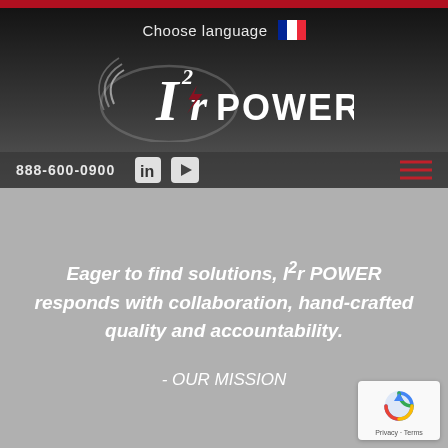Choose language
[Figure (logo): I2r POWER logo with stylized I-squared-r text and lightning bolt, white and red on dark background]
888-600-0900
Eager to find solutions, I²r POWER responds with collaboration, hand-crafted quality and accountability.
- OUR MISSION